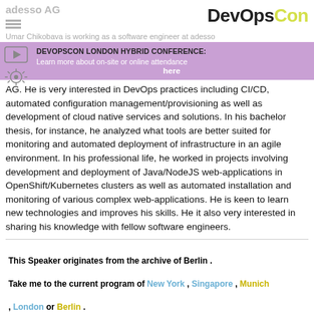adesso AG | DevOpsCon
Umar Chikobava is working as a software engineer at adesso AG. He is very interested in DevOps practices including CI/CD, automated configuration management/provisioning as well as development of cloud native services and solutions. In his bachelor thesis, for instance, he analyzed what tools are better suited for monitoring and automated deployment of infrastructure in an agile environment. In his professional life, he worked in projects involving development and deployment of Java/NodeJS web-applications in OpenShift/Kubernetes clusters as well as automated installation and monitoring of various complex web-applications. He is keen to learn new technologies and improves his skills. He it also very interested in sharing his knowledge with fellow software engineers.
[Figure (infographic): Purple banner with play icon and settings icon overlay. Text: DEVOPSCON LONDON HYBRID CONFERENCE: Learn more about on-site or online attendance here]
This Speaker originates from the archive of Berlin . Take me to the current program of New York , Singapore , Munich , London or Berlin .